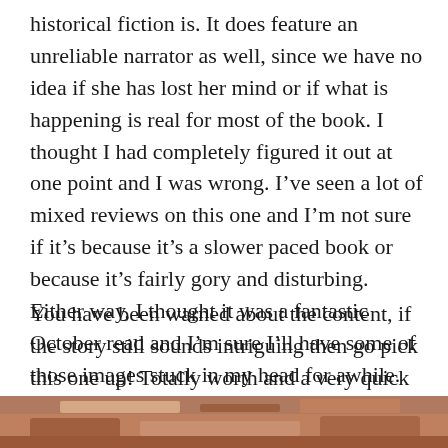historical fiction is. It does feature an unreliable narrator as well, since we have no idea if she has lost her mind or if what is happening is real for most of the book. I thought I had completely figured it out at one point and I was wrong. I’ve seen a lot of mixed reviews on this one and I’m not sure if it’s because it’s a slower paced book or because it’s fairly gory and disturbing. Either way, I thought it was a fantastic October read and I’m sure I’ll have some of those images stuck in my head for awhile.
You have been warned about the content, if the story still sounds intriguing then go pick this one up! Totally worth and a very quick read. Incredibly disturbing though.
[Figure (photo): Partial view of a book cover or image with warm brown/red tones visible at the bottom of the page]